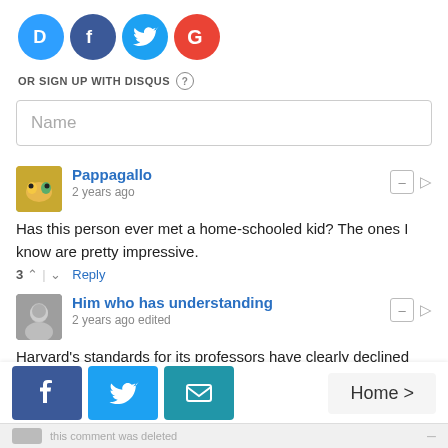[Figure (other): Social login icons: Disqus (blue D), Facebook (dark blue f), Twitter (light blue bird), Google (red G)]
OR SIGN UP WITH DISQUS ?
Name
Pappagallo
2 years ago
Has this person ever met a home-schooled kid? The ones I know are pretty impressive.
3 ^ | v Reply
Him who has understanding
2 years ago edited
Harvard's standards for its professors have clearly declined dramatically. The school should be avoided as a bastion of antiChristian sentiment and activity.
[Figure (other): Share bar with Facebook, Twitter, Email buttons and Home > link]